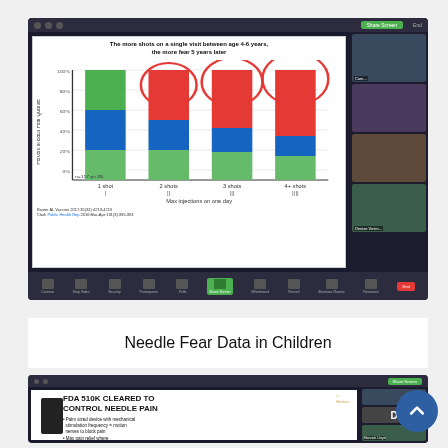[Figure (screenshot): Screenshot of a Zoom video call showing a presentation slide with a stacked bar chart titled 'The more shots on a single visit between age 4-6 years, the more fear 5 years later'. The chart shows 4 bars representing 1 shot, 2 shots, 3 shots, and 4+ shots with increasing red (high fear) portions. Participant video thumbnails are visible on the right. Citation: Baxter AL Vaccine 2017;35(31):4213-4219 and Clark Public Health Rep 2016;Mar-Apr;131(3):399-393.]
Needle Fear Data in Children
[Figure (screenshot): Screenshot of a Zoom video call showing a presentation slide titled 'FDA 510K CLEARED TO CONTROL NEEDLE PAIN' with bullet points: 'Palm sized device with mechanical stimulation frequency = motion nerves to block pain' and 'Max pain relief where...' (cut off). A dark device image is visible on the left. Participant video thumbnails including Hannah Lloyd visible on the right. A blue circular up-arrow button is visible on far right.]